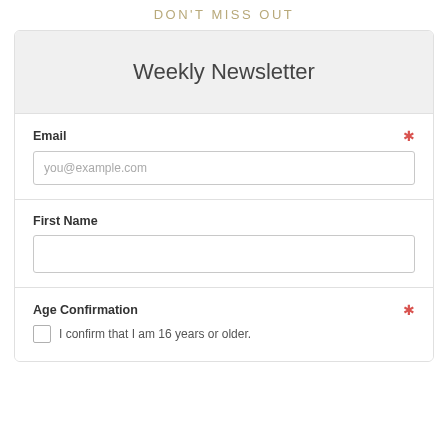DON'T MISS OUT
Weekly Newsletter
Email (required)
you@example.com
First Name
Age Confirmation (required)
I confirm that I am 16 years or older.